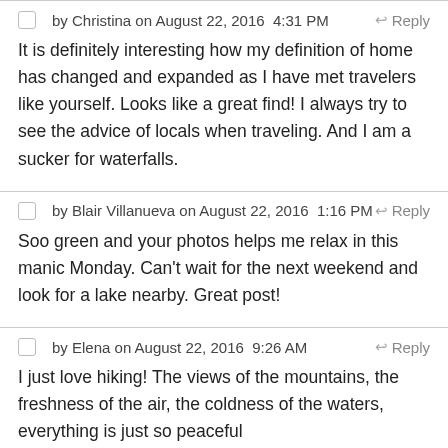by Christina on August 22, 2016  4:31 PM
It is definitely interesting how my definition of home has changed and expanded as I have met travelers like yourself. Looks like a great find! I always try to see the advice of locals when traveling. And I am a sucker for waterfalls.
by Blair Villanueva on August 22, 2016  1:16 PM
Soo green and your photos helps me relax in this manic Monday. Can't wait for the next weekend and look for a lake nearby. Great post!
by Elena on August 22, 2016  9:26 AM
I just love hiking! The views of the mountains, the freshness of the air, the coldness of the waters, everything is just so peaceful